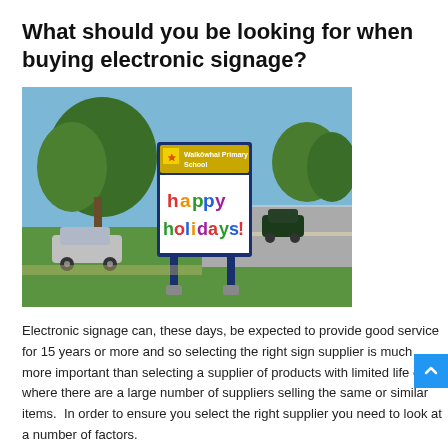What should you be looking for when buying electronic signage?
[Figure (photo): Outdoor electronic sign for Waikōwhai Primary School displaying 'happy holidays!' in colorful letters, mounted on two blue poles with grass and trees in background.]
Electronic signage can, these days, be expected to provide good service for 15 years or more and so selecting the right sign supplier is much more important than selecting a supplier of products with limited life or where there are a large number of suppliers selling the same or similar items.  In order to ensure you select the right supplier you need to look at a number of factors.